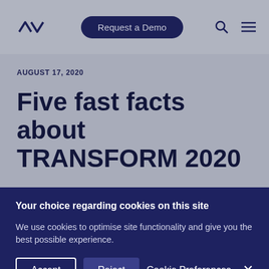Request a Demo
AUGUST 17, 2020
Five fast facts about TRANSFORM 2020
Your choice regarding cookies on this site
We use cookies to optimise site functionality and give you the best possible experience.
Accept  Reject  Cookie Preferences